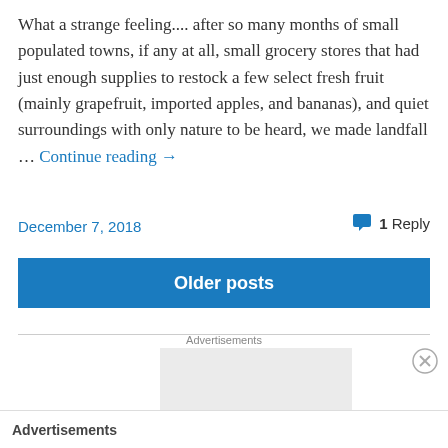What a strange feeling.... after so many months of small populated towns, if any at all, small grocery stores that had just enough supplies to restock a few select fresh fruit (mainly grapefruit, imported apples, and bananas), and quiet surroundings with only nature to be heard, we made landfall … Continue reading →
December 7, 2018
1 Reply
Older posts
Advertisements
[Figure (other): Grey advertisement placeholder box]
Advertisements